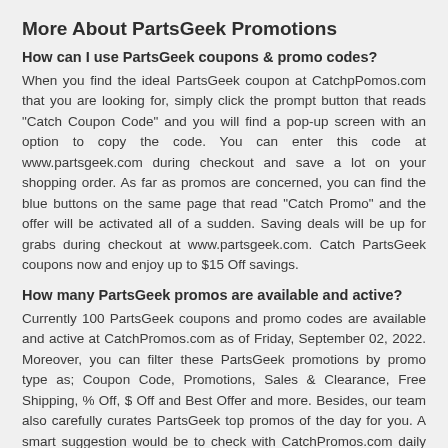More About PartsGeek Promotions
How can I use PartsGeek coupons & promo codes?
When you find the ideal PartsGeek coupon at CatchpPomos.com that you are looking for, simply click the prompt button that reads "Catch Coupon Code" and you will find a pop-up screen with an option to copy the code. You can enter this code at www.partsgeek.com during checkout and save a lot on your shopping order. As far as promos are concerned, you can find the blue buttons on the same page that read "Catch Promo" and the offer will be activated all of a sudden. Saving deals will be up for grabs during checkout at www.partsgeek.com. Catch PartsGeek coupons now and enjoy up to $15 Off savings.
How many PartsGeek promos are available and active?
Currently 100 PartsGeek coupons and promo codes are available and active at CatchPromos.com as of Friday, September 02, 2022. Moreover, you can filter these PartsGeek promotions by promo type as; Coupon Code, Promotions, Sales & Clearance, Free Shipping, % Off, $ Off and Best Offer and more. Besides, our team also carefully curates PartsGeek top promos of the day for you. A smart suggestion would be to check with CatchPromos.com daily so you never miss any PartsGeek promo again.